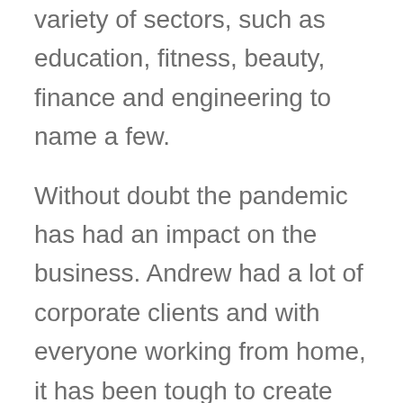variety of sectors, such as education, fitness, beauty, finance and engineering to name a few.
Without doubt the pandemic has had an impact on the business. Andrew had a lot of corporate clients and with everyone working from home, it has been tough to create content for them. Also, social distancing means a lot of offices are not practical for filming purposes. However, Andrew availed of the support under Antrim and Newtownabbey Borough Council's Business Start Up Coaching Programme; was assigned a Coach from Mallusk Enterprise Park who he described as knowledgeable and always approachable.